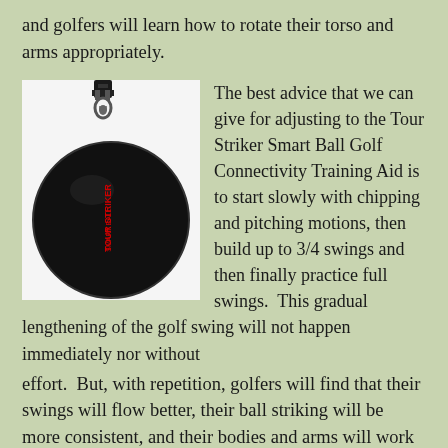and golfers will learn how to rotate their torso and arms appropriately.
[Figure (photo): Tour Striker Smart Ball Golf Connectivity Training Aid - a round black ball with a lanyard/clip attachment and red text on the surface]
The best advice that we can give for adjusting to the Tour Striker Smart Ball Golf Connectivity Training Aid is to start slowly with chipping and pitching motions, then build up to 3/4 swings and then finally practice full swings.  This gradual lengthening of the golf swing will not happen immediately nor without effort.  But, with repetition, golfers will find that their swings will flow better, their ball striking will be more consistent, and their bodies and arms will work in unison.
As a bonus, the Tour Striker Smart Ball Golf Connectivity Training Aid can be used for another classic connectivity training drill.  The ball can be deflated and then placed